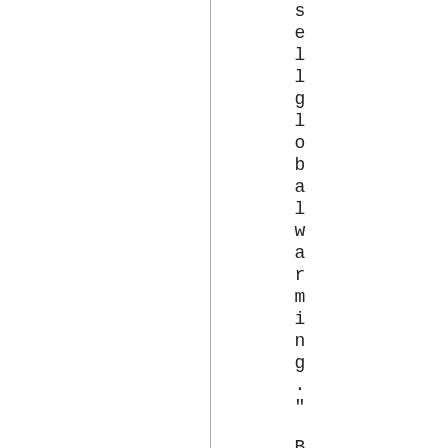sell global warming." But l t h